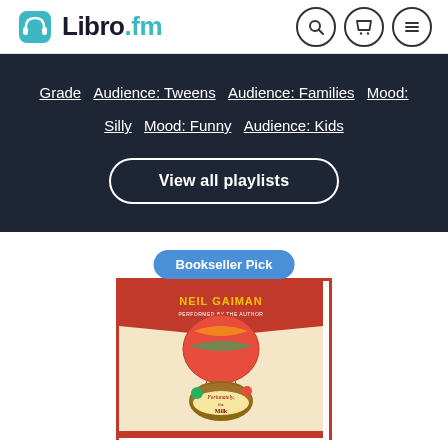[Figure (logo): Libro.fm logo with teal headphones icon and text 'Libro.fm' where .fm is teal]
[Figure (screenshot): Dark navy navigation bar with underlined filter links: Grade, Audience: Tweens, Audience: Families, Mood: Silly, Mood: Funny, Audience: Kids, and a 'View all playlists' button with rounded border]
Grade  Audience: Tweens  Audience: Families  Mood: Silly  Mood: Funny  Audience: Kids
View all playlists
[Figure (photo): Book cover for 'Fortunately, the Milk' by Neil Gaiman, performed by the author, showing a hot air balloon with fantastical creatures, marked as Bookseller Pick]